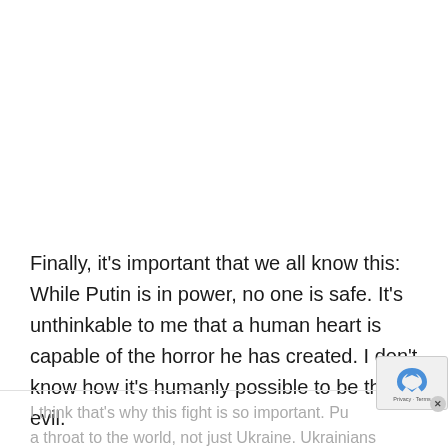Finally, it's important that we all know this: While Putin is in power, no one is safe. It's unthinkable to me that a human heart is capable of the horror he has created. I don't know how it's humanly possible to be this evil.
I think that's why this fight is so important. Pu a throat to the world, not just Ukraine. Ukrainians